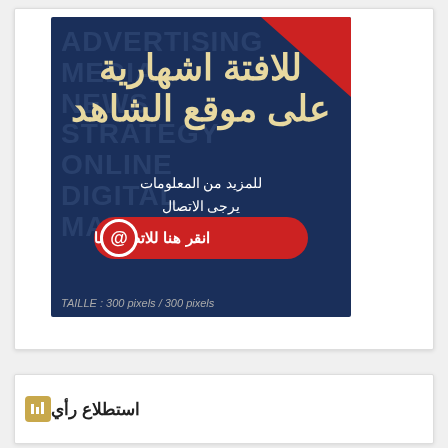[Figure (infographic): Arabic advertising banner on dark blue background with red corner accent. Large Arabic headline reads 'للافتة اشهارية على موقع الشاهد'. Subtext: 'للمزيد من المعلومات يرجى الاتصال بقسم المبيعات في الموقع'. Red CTA button with @ icon: 'انقر هنا للاتصال بنا'. TAILLE label: 'TAILLE : 300 pixels / 300 pixels']
استطلاع رأي